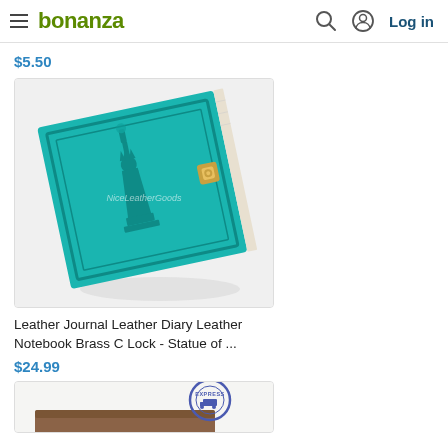bonanza | Log in
$5.50
[Figure (photo): Teal/turquoise leather journal with embossed Statue of Liberty design and brass clasp lock, shown at an angle on white background. Watermark reads NiceLeatherGoods.]
Leather Journal Leather Diary Leather Notebook Brass C Lock - Statue of ...
$24.99
[Figure (photo): Partial view of another product with a blue circular EXPRESS stamp/seal visible at top, brown leather item below, cut off at bottom of page.]